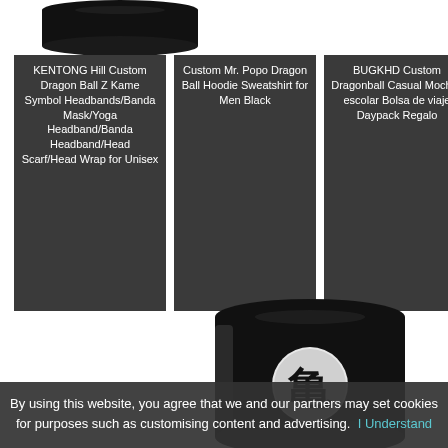[Figure (photo): Black bandana/neck gaiter product photo at top of page]
KENTONG Hill Custom Dragon Ball Z Kame Symbol Headbands/Bandana Mask/Yoga Headband/Bandana Headband/Head Scarf/Head Wrap for Unisex
Custom Mr. Popo Dragon Ball Hoodie Sweatshirt for Men Black
BUGKHD Custom Dragonball Casual Mochila escolar Bolsa de viaje Daypack Regalo
[Figure (photo): Black bandana/neck gaiter with Kame symbol product photo at bottom right]
By using this website, you agree that we and our partners may set cookies for purposes such as customising content and advertising.  I Understand